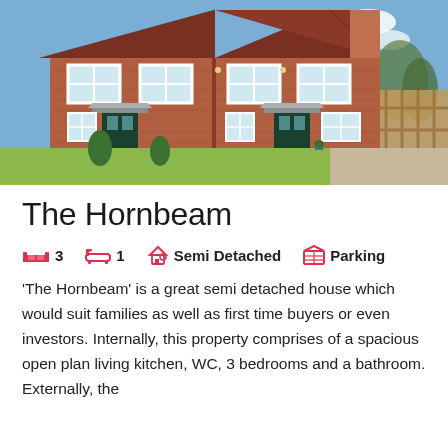[Figure (photo): Exterior photo of a red brick semi-detached house with tiled roof, white-framed windows, green front doors with canopy porches, small front lawn, and a wooden fence on the right side under a partly cloudy blue sky.]
The Hornbeam
3  1  Semi Detached  Parking
'The Hornbeam' is a great semi detached house which would suit families as well as first time buyers or even investors. Internally, this property comprises of a spacious open plan living kitchen, WC, 3 bedrooms and a bathroom. Externally, the